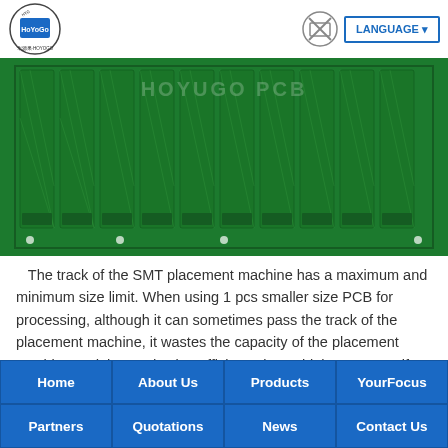HOYOGO PCB - Hit Your Goal on PCB | LANGUAGE
[Figure (photo): Green PCB panel showing multiple identical PCBs arranged side by side in a panel strip, with HOYOGO PCB watermark overlaid]
The track of the SMT placement machine has a maximum and minimum size limit. When using 1 pcs smaller size PCB for processing, although it can sometimes pass the track of the placement machine, it wastes the capacity of the placement machine and the production efficiency is not high. However, if there are 10pcs, 20pcs, etc. single PCB in the panel, this will not only improve the
Home | About Us | Products | YourFocus | Partners | Quotations | News | Contact Us